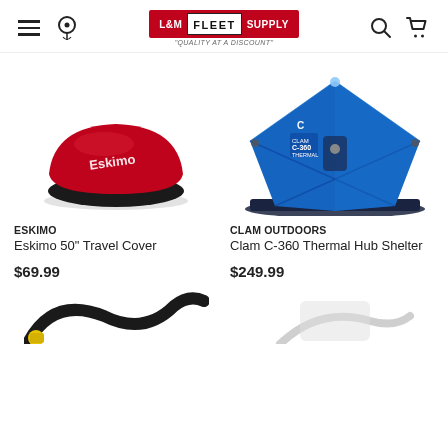L&M Fleet Supply — Quality at a Discount — navigation header with hamburger menu, location pin, logo, search, and cart icons
[Figure (photo): Red Eskimo 50 inch travel cover product photo on white background]
[Figure (photo): Blue Clam C-360 Thermal Hub Shelter pop-up ice fishing shelter on dark floor mat]
ESKIMO
Eskimo 50" Travel Cover
$69.99
CLAM OUTDOORS
Clam C-360 Thermal Hub Shelter
$249.99
[Figure (photo): Partially visible product image at bottom of page, appears to show black hose/cable with yellow fitting]